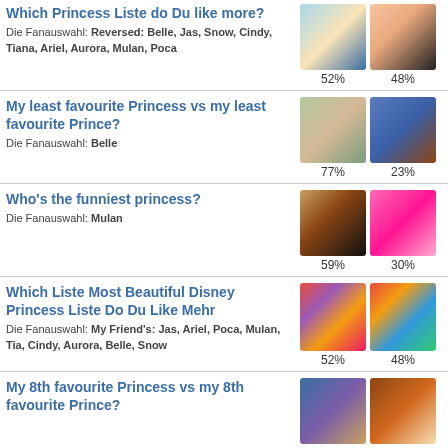Which Princess Liste do Du like more?
Die Fanauswahl: Reversed: Belle, Jas, Snow, Cindy, Tiana, Ariel, Aurora, Mulan, Poca
52%  48%
My least favourite Princess vs my least favourite Prince?
Die Fanauswahl: Belle
77%  23%
Who's the funniest princess?
Die Fanauswahl: Mulan
59%  30%
Which Liste Most Beautiful Disney Princess Liste Do Du Like Mehr
Die Fanauswahl: My Friend's: Jas, Ariel, Poca, Mulan, Tia, Cindy, Aurora, Belle, Snow
52%  48%
My 8th favourite Princess vs my 8th favourite Prince?